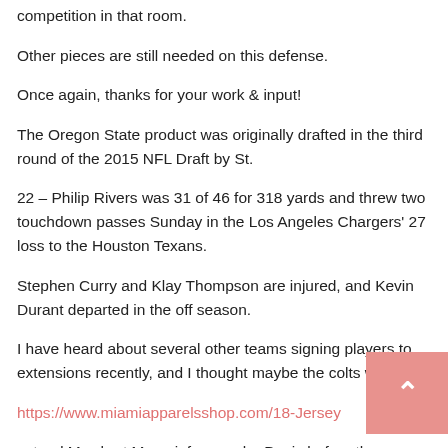competition in that room.
Other pieces are still needed on this defense.
Once again, thanks for your work & input!
The Oregon State product was originally drafted in the third round of the 2015 NFL Draft by St.
22 – Philip Rivers was 31 of 46 for 318 yards and threw two touchdown passes Sunday in the Los Angeles Chargers' 27 loss to the Houston Texans.
Stephen Curry and Klay Thompson are injured, and Kevin Durant departed in the off season.
I have heard about several other teams signing players to extensions recently, and I thought maybe the colts would try
https://www.miamiapparelsshop.com/18-Jersey
extend Mewhort Moncrief or maybe Davis before the season started.
it's all about being right...